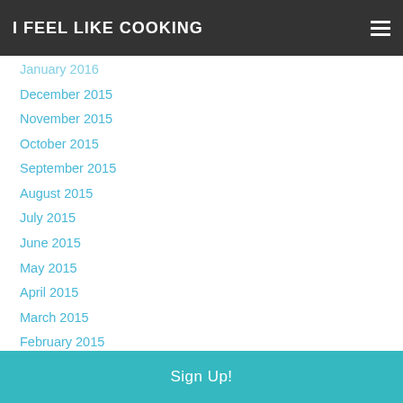I FEEL LIKE COOKING
January 2016
December 2015
November 2015
October 2015
September 2015
August 2015
July 2015
June 2015
May 2015
April 2015
March 2015
February 2015
January 2015
December 2014
November 2014
Sign Up!